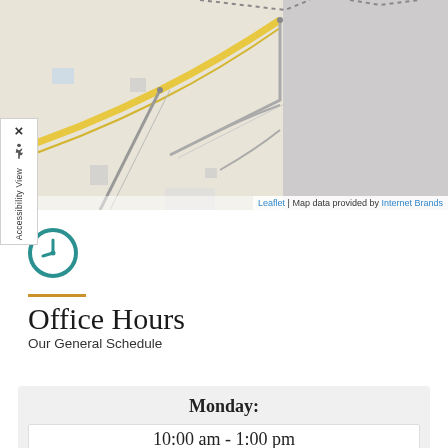[Figure (map): Street map showing local roads and intersections with a gray overlay in the top-right portion. Yellow roads and beige/tan map background visible. Map data provided by Internet Brands.]
Leaflet | Map data provided by Internet Brands
[Figure (infographic): Teal circular clock/history icon]
Office Hours
Our General Schedule
| Monday: |
| --- |
| 10:00 am - 1:00 pm |